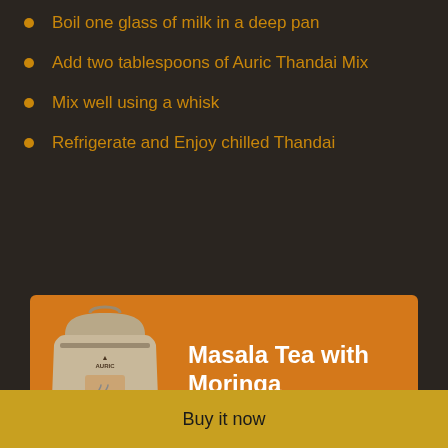Boil one glass of milk in a deep pan
Add two tablespoons of Auric Thandai Mix
Mix well using a whisk
Refrigerate and Enjoy chilled Thandai
[Figure (infographic): Orange banner advertisement for Masala Tea with Moringa product. Shows a kraft paper product pouch on the left with 'AURIC MASALA TEA' text and tea icons. Right side has white bold text 'Masala Tea with Moringa' and dark brown link text 'Click to Know More >>']
Buy it now